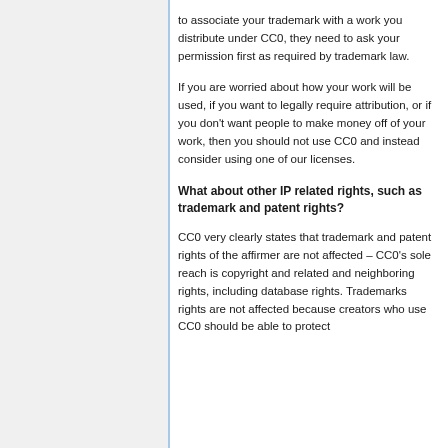to associate your trademark with a work you distribute under CC0, they need to ask your permission first as required by trademark law.
If you are worried about how your work will be used, if you want to legally require attribution, or if you don't want people to make money off of your work, then you should not use CC0 and instead consider using one of our licenses.
What about other IP related rights, such as trademark and patent rights?
CC0 very clearly states that trademark and patent rights of the affirmer are not affected – CC0's sole reach is copyright and related and neighboring rights, including database rights. Trademarks rights are not affected because creators who use CC0 should be able to protect